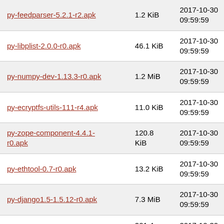| Name | Size | Date |
| --- | --- | --- |
| py-feedparser-5.2.1-r2.apk | 1.2 KiB | 2017-10-30 09:59:59 |
| py-libplist-2.0.0-r0.apk | 46.1 KiB | 2017-10-30 09:59:59 |
| py-numpy-dev-1.13.3-r0.apk | 1.2 MiB | 2017-10-30 09:59:59 |
| py-ecryptfs-utils-111-r4.apk | 11.0 KiB | 2017-10-30 09:59:59 |
| py-zope-component-4.4.1-r0.apk | 120.8 KiB | 2017-10-30 09:59:59 |
| py-ethtool-0.7-r0.apk | 13.2 KiB | 2017-10-30 09:59:59 |
| py-django1.5-1.5.12-r0.apk | 7.3 MiB | 2017-10-30 09:59:59 |
| py-sip-4.19.2-r0.apk | 201.4 KiB | 2017-10-30 09:59:59 |
| py-netaddr-0.7.19-r1.apk | 1.2 KiB | 2017-10-30 09:59:59 |
| py-ndg_httpsclient-0.4.0-r0.apk | 46.3 KiB | 2017-10-30 09:59:59 |
| py-py-1.4.34-r0.apk | 1.2 KiB | 2017-10-30 09:59:59 |
| (partial row) | 1.2 KiB | 2017-10-30 |